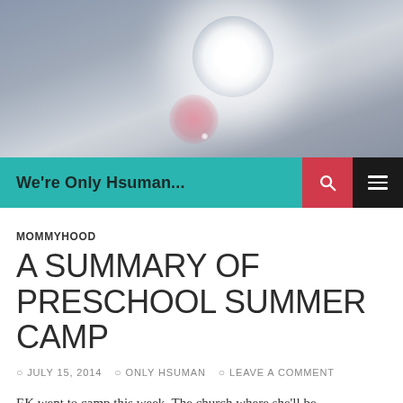[Figure (photo): Sky photo with bright sun and lens flare on a hazy blue-grey sky, with pink bokeh lens flare artifact]
We're Only Hsuman...
MOMMYHOOD
A SUMMARY OF PRESCHOOL SUMMER CAMP
JULY 15, 2014   ONLY HSUMAN   LEAVE A COMMENT
EK went to camp this week. The church where she'll be